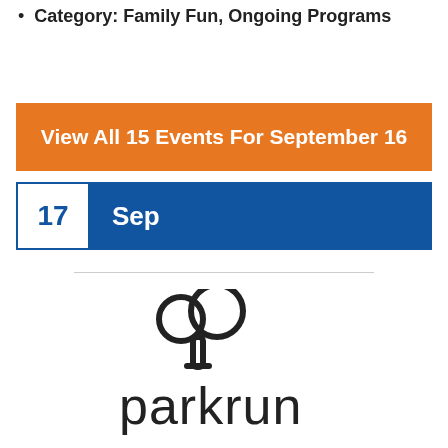Category: Family Fun, Ongoing Programs
View All 15 Events For September 16
17 Sep
[Figure (logo): parkrun logo — stylized tree icon above the word 'parkrun' in lowercase rounded letters]